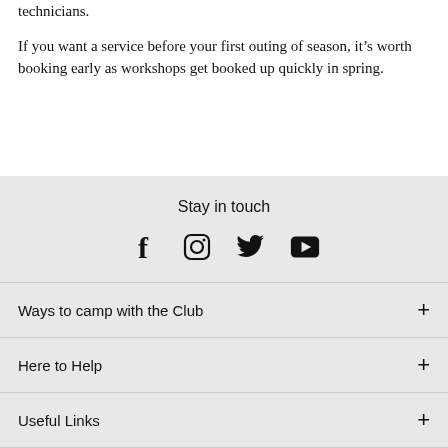technicians.
If you want a service before your first outing of season, it's worth booking early as workshops get booked up quickly in spring.
Stay in touch
[Figure (infographic): Social media icons: Facebook, Instagram, Twitter, YouTube]
Ways to camp with the Club
Here to Help
Useful Links